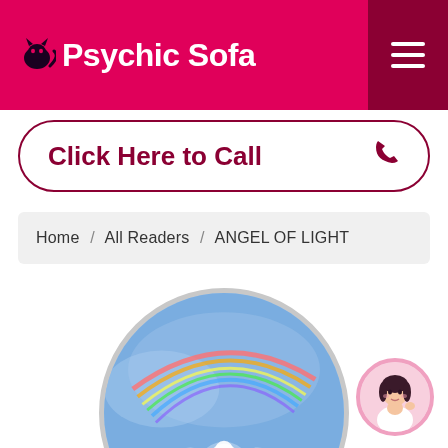Psychic Sofa
Click Here to Call
Home / All Readers / ANGEL OF LIGHT
[Figure (photo): Circular profile image showing a blue sky with a rainbow-colored angel of light figure and white glowing form below, bordered by a grey circle]
[Figure (illustration): Small circular avatar in bottom right showing an illustrated dark-haired woman in white, with pink border]